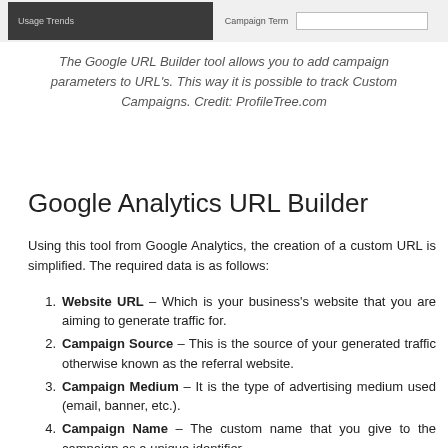[Figure (screenshot): Screenshot strip showing a dark sidebar with 'Usage Trends' text and a form field labeled 'Campaign Term' with an input box]
The Google URL Builder tool allows you to add campaign parameters to URL's. This way it is possible to track Custom Campaigns. Credit: ProfileTree.com
Google Analytics URL Builder
Using this tool from Google Analytics, the creation of a custom URL is simplified. The required data is as follows:
Website URL – Which is your business's website that you are aiming to generate traffic for.
Campaign Source – This is the source of your generated traffic otherwise known as the referral website.
Campaign Medium – It is the type of advertising medium used (email, banner, etc.).
Campaign Name – The custom name that you give to the campaign as a unique identifier.
Campaign Term – Your primary keywords for this